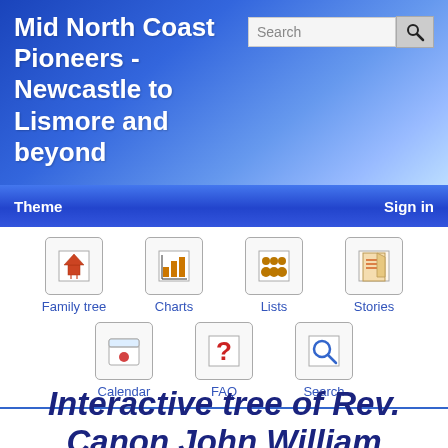Mid North Coast Pioneers - Newcastle to Lismore and beyond
Theme   Sign in
[Figure (screenshot): Navigation icons: Family tree, Charts, Lists, Stories, Calendar, FAQ, Search]
Interactive tree of Rev. Canon John William